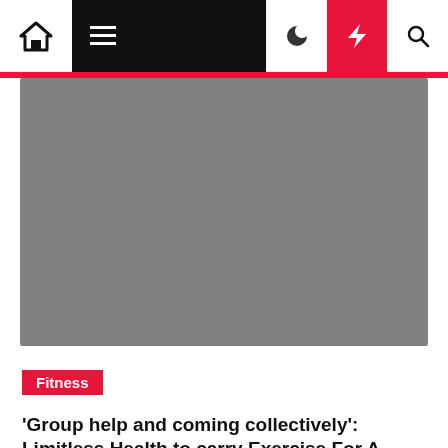Navigation bar with home, menu, moon, bolt, and search icons
[Figure (photo): Gray placeholder hero image for article]
Fitness
'Group help and coming collectively': Limitless Health to carry Exercise For A…
Amanda Gerla  2 months ago
Matt Reiswig at Limitless Health retains a watch on a consumer's exercise at his and spouse Courtney Reiswig's gymnasium at 1050 Whispering Pines Lane in Grass Valley. The duo is internet hosting the Exercise For A Trigger